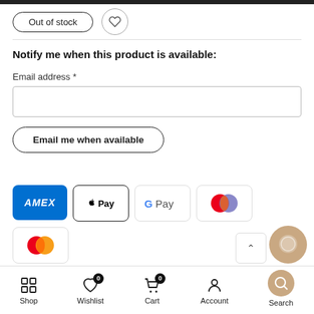[Figure (screenshot): Out of stock button and heart/wishlist icon button at top of page]
Notify me when this product is available:
Email address *
[Figure (other): Email address input text field]
[Figure (other): Email me when available button]
[Figure (other): Payment method icons: AMEX, Apple Pay, G Pay, two Mastercard-style logos, VISA]
Shop  Wishlist  Cart  Account  Search